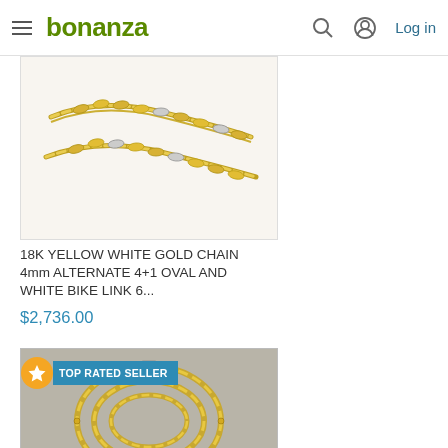bonanza | Log in
[Figure (photo): Gold chain necklace product photo showing yellow and white gold links on white background]
18K YELLOW WHITE GOLD CHAIN 4mm ALTERNATE 4+1 OVAL AND WHITE BIKE LINK 6...
$2,736.00
[Figure (photo): Gold chain coiled on ruler/measurement background with TOP RATED SELLER badge, showing yellow gold twisted oval links]